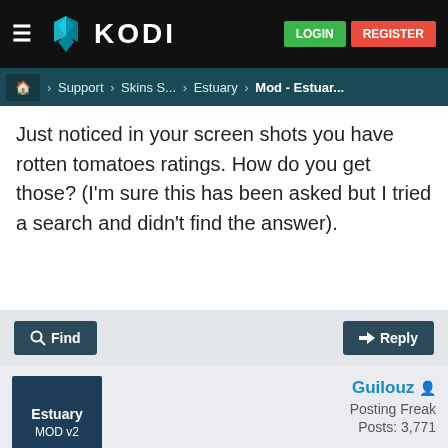KODI | LOGIN | REGISTER
› Support › Skins S... › Estuary › Mod - Estuar...
Just noticed in your screen shots you have rotten tomatoes ratings. How do you get those? (I'm sure this has been asked but I tried a search and didn't find the answer).
Find   Reply
Guilouz
Posting Freak
Posts: 3,771
2016-06-25, 00:52
#711